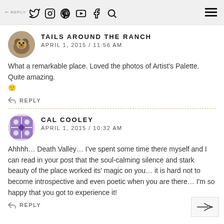REPLY — social nav bar with Twitter, Instagram, Pinterest, YouTube, Facebook, Search icons and hamburger menu
TAILS AROUND THE RANCH
APRIL 1, 2015 / 11:56 AM
What a remarkable place. Loved the photos of Artist's Palette. Quite amazing. 🙂
↩ REPLY
CAL COOLEY
APRIL 1, 2015 / 10:32 AM
Ahhhh… Death Valley… I've spent some time there myself and I can read in your post that the soul-calming silence and stark beauty of the place worked its' magic on you… it is hard not to become introspective and even poetic when you are there… I'm so happy that you got to experience it!
↩ REPLY